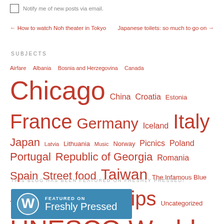Notify me of new posts via email.
← How to watch Noh theater in Tokyo    Japanese toilets: so much to go on →
SUBJECTS
Airfare  Albania  Bosnia and Herzegovina  Canada  Chicago  China  Croatia  Estonia  France  Germany  Iceland  Italy  Japan  Latvia  Lithuania  Music  Norway  Picnics  Poland  Portugal  Republic of Georgia  Romania  Spain  Street food  Taiwan  The Infamous Blue Traveling Poncho  Travel tips  Uncategorized  UNESCO World Heritage Sites  USA
THIS BLOG HAS BEEN FEATURED ON FRESHLY PRESSED!
[Figure (logo): WordPress Freshly Pressed badge - blue rectangle with WP logo and text 'FEATURED ON Freshly Pressed']